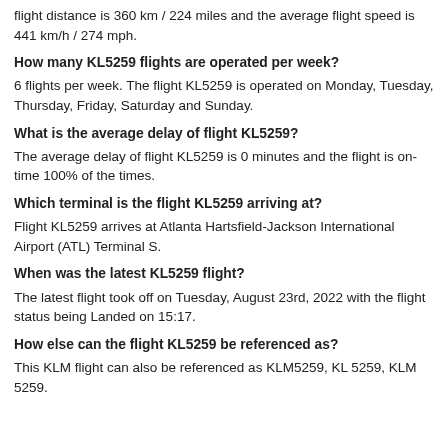flight distance is 360 km / 224 miles and the average flight speed is 441 km/h / 274 mph.
How many KL5259 flights are operated per week?
6 flights per week. The flight KL5259 is operated on Monday, Tuesday, Thursday, Friday, Saturday and Sunday.
What is the average delay of flight KL5259?
The average delay of flight KL5259 is 0 minutes and the flight is on-time 100% of the times.
Which terminal is the flight KL5259 arriving at?
Flight KL5259 arrives at Atlanta Hartsfield-Jackson International Airport (ATL) Terminal S.
When was the latest KL5259 flight?
The latest flight took off on Tuesday, August 23rd, 2022 with the flight status being Landed on 15:17.
How else can the flight KL5259 be referenced as?
This KLM flight can also be referenced as KLM5259, KL 5259, KLM 5259.